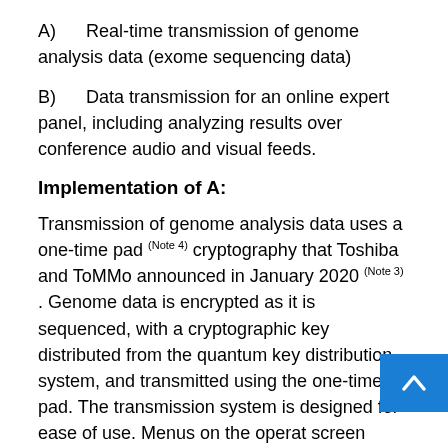A)   Real-time transmission of genome analysis data (exome sequencing data)
B)   Data transmission for an online expert panel, including analyzing results over conference audio and visual feeds.
Implementation of A:
Transmission of genome analysis data uses a one-time pad (Note 4) cryptography that Toshiba and ToMMo announced in January 2020 (Note 3). Genome data is encrypted as it is sequenced, with a cryptographic key distributed from the quantum key distribution system, and transmitted using the one-time pad. The transmission system is designed for ease of use. Menus on the operator screen allow simple selection of the number of the